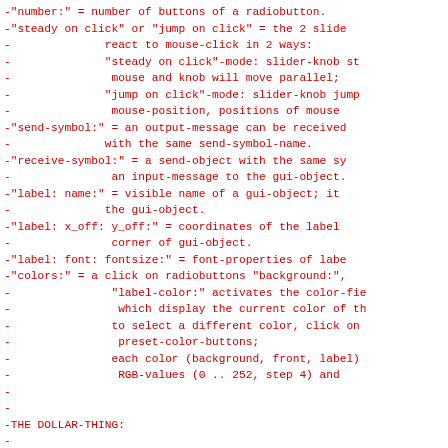-"number:" = number of buttons of a radiobutton.
-"steady on click" or "jump on click" = the 2 slide
-              react to mouse-click in 2 ways:
-              "steady on click"-mode: slider-knob st
-               mouse and knob will move parallel;
-              "jump on click"-mode: slider-knob jump
-               mouse-position, positions of mouse
-"send-symbol:" = an output-message can be received
-              with the same send-symbol-name.
-"receive-symbol:" = a send-object with the same sy
-               an input-message to the gui-object.
-"label: name:" = visible name of a gui-object; it
-              the gui-object.
-"label: x_off: y_off:" = coordinates of the label
-               corner of gui-object.
-"label: font: fontsize:" = font-properties of labe
-"colors:" = a click on radiobuttons "background:",
-               "label-color:" activates the color-fie
-                which display the current color of th
-               to select a different color, click on
-                preset-color-buttons;
-               each color (background, front, label)
-                RGB-values (0 .. 252, step 4) and
-
-
-THE DOLLAR-THING:
-
-if you want to send to, or to receive from gui-obj
-               you have to write into the property-en
-                #1-label (instead of $1-label).